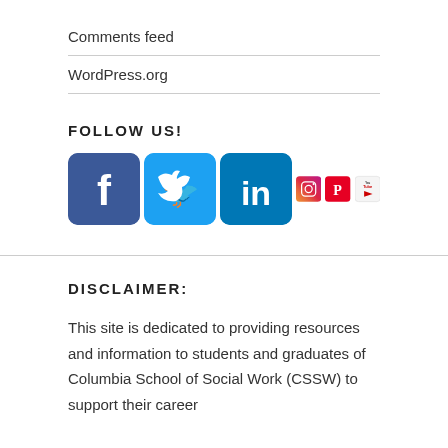Comments feed
WordPress.org
FOLLOW US!
[Figure (illustration): Row of six social media icons: Facebook, Twitter, LinkedIn, Instagram, Pinterest, YouTube]
DISCLAIMER:
This site is dedicated to providing resources and information to students and graduates of Columbia School of Social Work (CSSW) to support their career